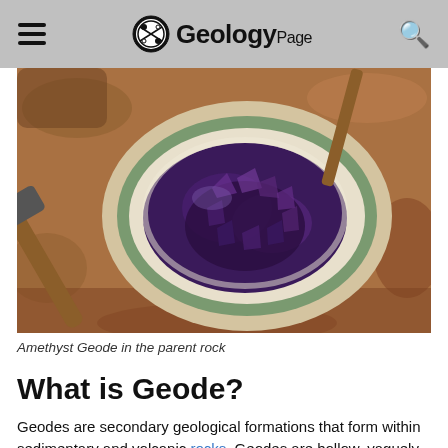Geology Page
[Figure (photo): An amethyst geode exposed in parent rock material, with a geology hammer lying beside it. The geode shows dark purple amethyst crystals surrounded by a white/chalky outer ring, set in reddish-brown rocky sediment.]
Amethyst Geode in the parent rock
What is Geode?
Geodes are secondary geological formations that form within sedimentary and volcanic rocks. Geodes are hollow, vaguely